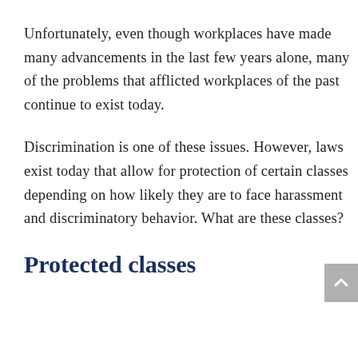Unfortunately, even though workplaces have made many advancements in the last few years alone, many of the problems that afflicted workplaces of the past continue to exist today.
Discrimination is one of these issues. However, laws exist today that allow for protection of certain classes depending on how likely they are to face harassment and discriminatory behavior. What are these classes?
Protected classes